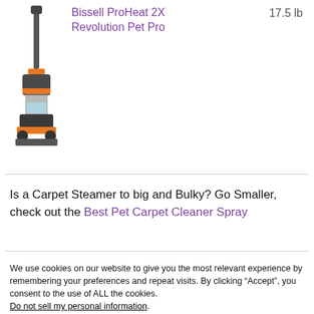[Figure (photo): Bissell ProHeat 2X Revolution Pet Pro carpet cleaner product image - upright carpet cleaning machine with orange and dark grey/black coloring]
Bissell ProHeat 2X Revolution Pet Pro
17.5 lb
Is a Carpet Steamer to big and Bulky? Go Smaller, check out the Best Pet Carpet Cleaner Spray
We use cookies on our website to give you the most relevant experience by remembering your preferences and repeat visits. By clicking “Accept”, you consent to the use of ALL the cookies.
Do not sell my personal information.
Cookie Settings
Accept